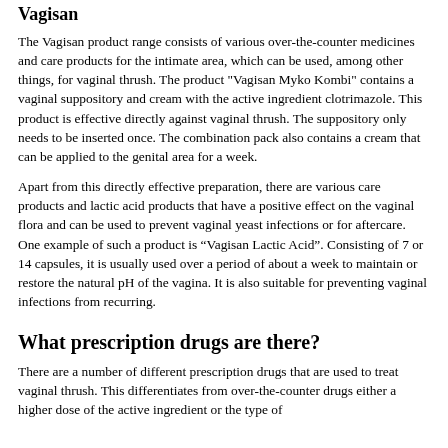Vagisan
The Vagisan product range consists of various over-the-counter medicines and care products for the intimate area, which can be used, among other things, for vaginal thrush. The product "Vagisan Myko Kombi" contains a vaginal suppository and cream with the active ingredient clotrimazole. This product is effective directly against vaginal thrush. The suppository only needs to be inserted once. The combination pack also contains a cream that can be applied to the genital area for a week.
Apart from this directly effective preparation, there are various care products and lactic acid products that have a positive effect on the vaginal flora and can be used to prevent vaginal yeast infections or for aftercare. One example of such a product is “Vagisan Lactic Acid”. Consisting of 7 or 14 capsules, it is usually used over a period of about a week to maintain or restore the natural pH of the vagina. It is also suitable for preventing vaginal infections from recurring.
What prescription drugs are there?
There are a number of different prescription drugs that are used to treat vaginal thrush. This differentiates from over-the-counter drugs either a higher dose of the active ingredient or the type of